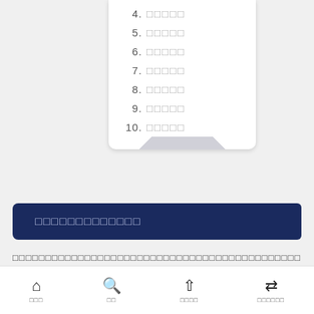4. □□□□□
5. □□□□□
6. □□□□□
7. □□□□□
8. □□□□□
9. □□□□□
10. □□□□□
□□□□□□□□□□□□□
□□□□□□□□□□□□□□□□□□□□□□□□□□□□□□□□□□□□□□□□□□□□
□□□ □□ □□□□ □□□□□□